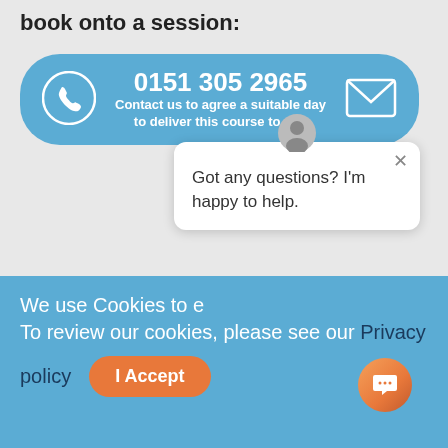book onto a session:
[Figure (infographic): Blue rounded banner with phone icon on left, email/envelope icon on right, and text in center: phone number 0151 305 2965 and 'Contact us to agree a suitable day to deliver this course to you']
This course is acc
We use Cookies to e
To review our cookies, please see our Privacy policy
[Figure (screenshot): Chat popup bubble with avatar icon, close X button, and message 'Got any questions? I'm happy to help.']
[Figure (other): Orange circular chat button in bottom right corner]